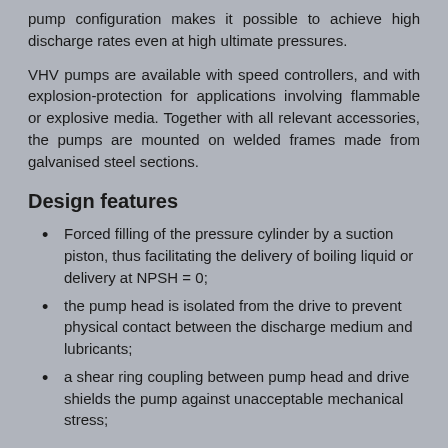pump configuration makes it possible to achieve high discharge rates even at high ultimate pressures.
VHV pumps are available with speed controllers, and with explosion-protection for applications involving flammable or explosive media. Together with all relevant accessories, the pumps are mounted on welded frames made from galvanised steel sections.
Design features
Forced filling of the pressure cylinder by a suction piston, thus facilitating the delivery of boiling liquid or delivery at NPSH = 0;
the pump head is isolated from the drive to prevent physical contact between the discharge medium and lubricants;
a shear ring coupling between pump head and drive shields the pump against unacceptable mechanical stress;